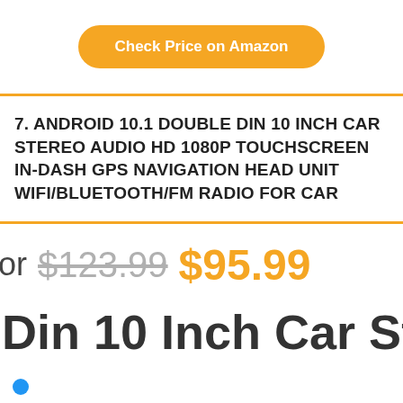Check Price on Amazon
7. ANDROID 10.1 DOUBLE DIN 10 INCH CAR STEREO AUDIO HD 1080P TOUCHSCREEN IN-DASH GPS NAVIGATION HEAD UNIT WIFI/BLUETOOTH/FM RADIO FOR CAR
or $123.99 $95.99
Din 10 Inch Car St